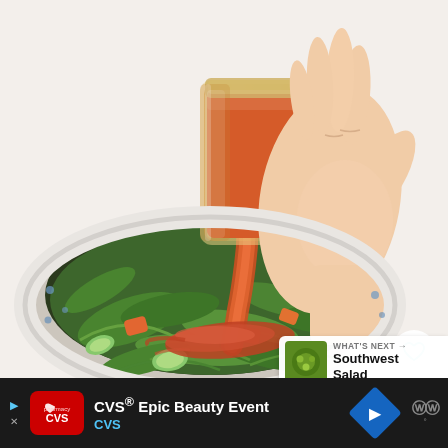[Figure (photo): A hand pouring orange-red salad dressing from a glass jar onto a fresh green salad with mixed greens, cucumbers, tomatoes, and carrots in a bowl.]
23
WHAT'S NEXT → Southwest Salad
CVS® Epic Beauty Event CVS